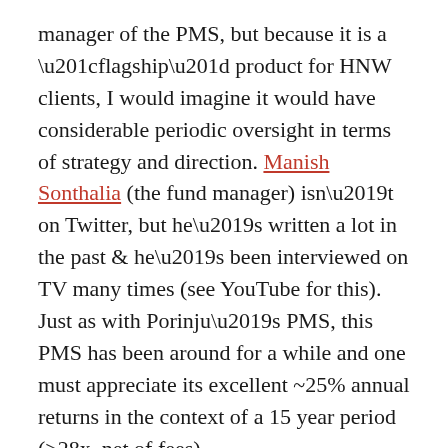manager of the PMS, but because it is a “flagship” product for HNW clients, I would imagine it would have considerable periodic oversight in terms of strategy and direction. Manish Sonthalia (the fund manager) isn’t on Twitter, but he’s written a lot in the past & he’s been interviewed on TV many times (see YouTube for this). Just as with Porinju’s PMS, this PMS has been around for a while and one must appreciate its excellent ~25% annual returns in the context of a 15 year period (>28x, net of fees)
Here’s an interview of Sonthalia with Mr